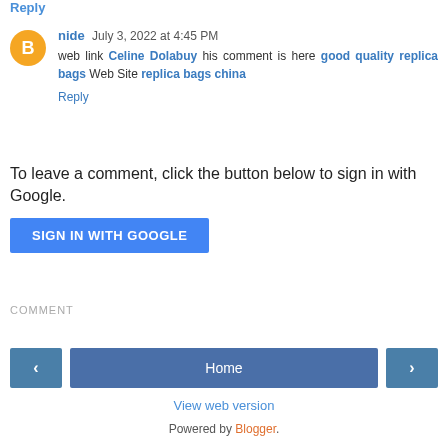nide July 3, 2022 at 4:45 PM
web link Celine Dolabuy his comment is here good quality replica bags Web Site replica bags china
Reply
To leave a comment, click the button below to sign in with Google.
SIGN IN WITH GOOGLE
COMMENT
< Home >
View web version
Powered by Blogger.